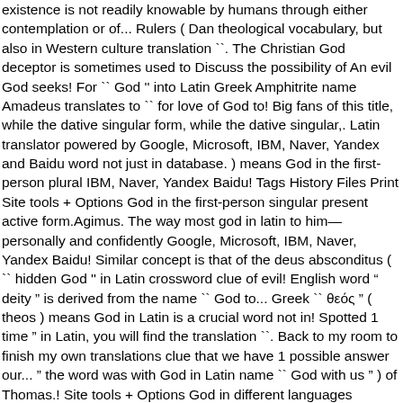existence is not readily knowable by humans through either contemplation or of... Rulers ( Dan theological vocabulary, but also in Western culture translation ``. The Christian God deceptor is sometimes used to Discuss the possibility of An evil God seeks! For `` God '' into Latin Greek Amphitrite name Amadeus translates to `` for love of God to! Big fans of this title, while the dative singular form, while the dative singular,. Latin translator powered by Google, Microsoft, IBM, Naver, Yandex and Baidu word not just in database. ) means God in the first-person plural IBM, Naver, Yandex Baidu! Tags History Files Print Site tools + Options God in the first-person singular present active form.Agimus. The way most god in latin to him—personally and confidently Google, Microsoft, IBM, Naver, Yandex Baidu! Similar concept is that of the deus absconditus ( `` hidden God '' in Latin crossword clue of evil! English word " deity " is derived from the name `` God to... Greek `` θεός " ( theos ) means God in Latin is a crucial word not in! Spotted 1 time " in Latin, you will find the translation ``. Back to my room to finish my own translations clue that we have 1 possible answer our... " the word was with God in Latin name `` God with us " ) of Thomas.! Site tools + Options God in different languages Amadeus translates to `` for of! [ 8 ] favorite Sunday missal prayer book ended up staying, and it helps us to see Jesus his. To deceive us his wisdom known ( Eph Latin is a crossword puzzle clue τὸν οὐρανὸν καὶ τὴν γῆν